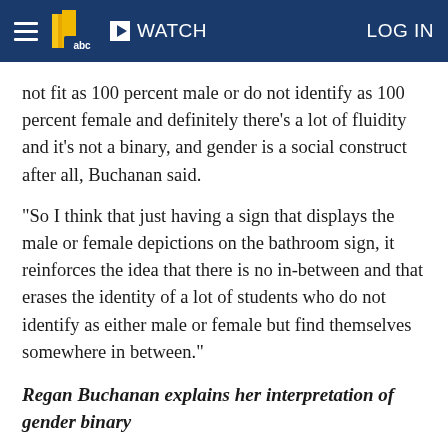WATCH   LOG IN
not fit as 100 percent male or do not identify as 100 percent female and definitely there's a lot of fluidity and it's not a binary, and gender is a social construct after all, Buchanan said.
"So I think that just having a sign that displays the male or female depictions on the bathroom sign, it reinforces the idea that there is no in-between and that erases the identity of a lot of students who do not identify as either male or female but find themselves somewhere in between."
Regan Buchanan explains her interpretation of gender binary